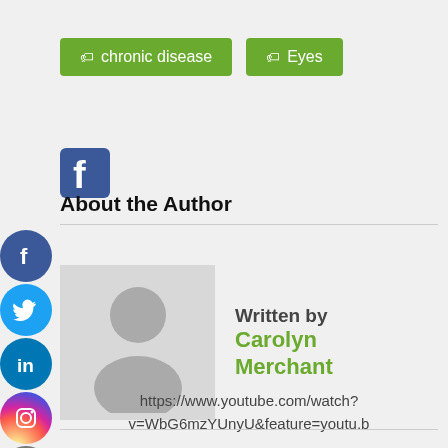chronic disease   Eyes
[Figure (logo): Facebook logo icon small blue square with white f]
About the Author
[Figure (photo): Generic grey silhouette person avatar placeholder image]
Written by Carolyn Merchant
https://www.youtube.com/watch?v=WbG6mzYUnyU&feature=youtu.b